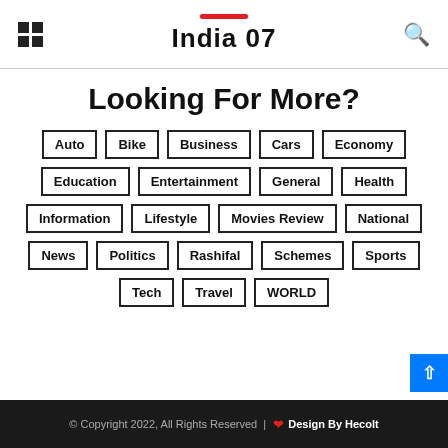India 07
Looking For More?
Auto
Bike
Business
Cars
Economy
Education
Entertainment
General
Health
Information
Lifestyle
Movies Review
National
News
Politics
Rashifal
Schemes
Sports
Tech
Travel
WORLD
© Copyright 2022, All Rights Reserved | ❤ Design By Hecolt